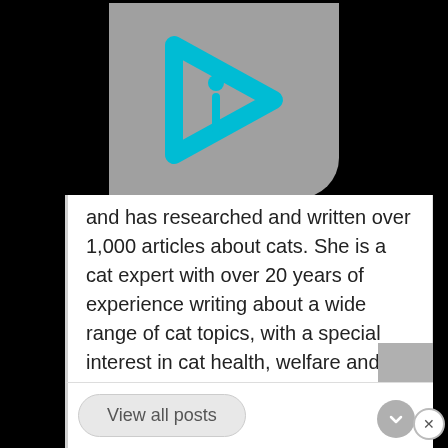[Figure (logo): Cyan/teal play-button shaped logo with letter 'i' inside, on a gray rounded rectangle background, against black background]
and has researched and written over 1,000 articles about cats. She is a cat expert with over 20 years of experience writing about a wide range of cat topics, with a special interest in cat health, welfare and preventative care. Julia lives in Sydney with her family, four cats and two dogs. Full author bio
View all posts